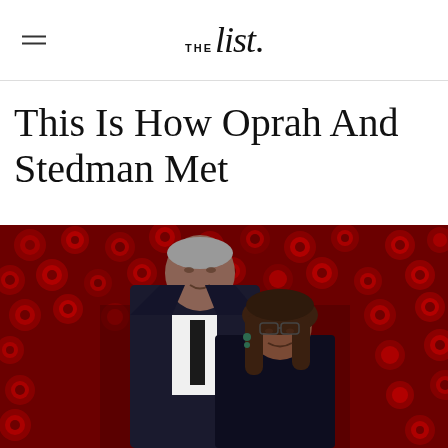THE list.
This Is How Oprah And Stedman Met
[Figure (photo): Stedman Graham and Oprah Winfrey posing together in front of a red floral/rose wall background. Stedman is wearing a dark suit with a black tie and white shirt. Oprah is wearing a dark outfit with dangling earrings and glasses, with long wavy hair.]